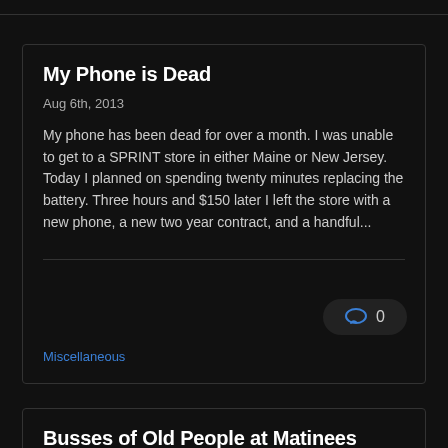My Phone is Dead
Aug 6th, 2013
My phone has been dead for over a month. I was unable to get to a SPRINT store in either Maine or New Jersey. Today I planned on spending twenty minutes replacing the battery. Three hours and $150 later I left the store with a new phone, a new two year contract, and a handful...
0
Miscellaneous
Busses of Old People at Matinees
Aug 2nd, 2013
I love busses of old people at matinees. I don't even